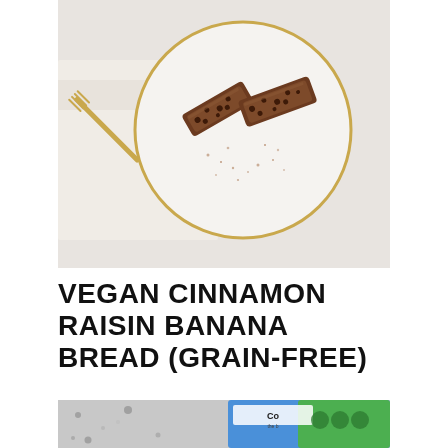[Figure (photo): Overhead view of two slices of banana bread on a white ceramic plate with gold rim, dusted with cinnamon, placed on a white linen napkin. A gold fork rests beside the plate on a white marble surface.]
VEGAN CINNAMON RAISIN BANANA BREAD (GRAIN-FREE)
[Figure (photo): Partial view of a product package on a granite countertop, showing green and blue packaging with logo partially visible.]